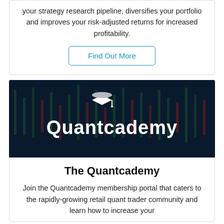your strategy research pipeline, diversifies your portfolio and improves your risk-adjusted returns for increased profitability.
Find Out More
[Figure (logo): Quantcademy logo on a dark financial chart background showing candlestick charts in blue, green, and red tones]
The Quantcademy
Join the Quantcademy membership portal that caters to the rapidly-growing retail quant trader community and learn how to increase your